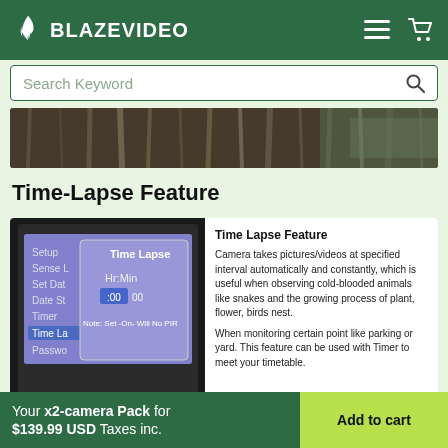[Figure (logo): BlazeVideo logo with flame icon on dark green header background]
[Figure (screenshot): Search keyword input bar with magnifying glass icon]
[Figure (photo): Nature banner image showing water/trees in background]
Time-Lapse Feature
[Figure (screenshot): Trail camera LCD screen showing Time Lapse setup menu with Hr:Min fields and note text]
Time Lapse Feature
Camera takes pictures/videos at specified interval automatically and constantly, which is useful when observing cold-blooded animals like snakes and the growing process of plant, flower, birds nest.
When monitoring certain point like parking or yard. This feature can be used with Timer to meet your timetable.
Your x2-camera Pack for $139.99 USD Taxes inc.
Add to cart